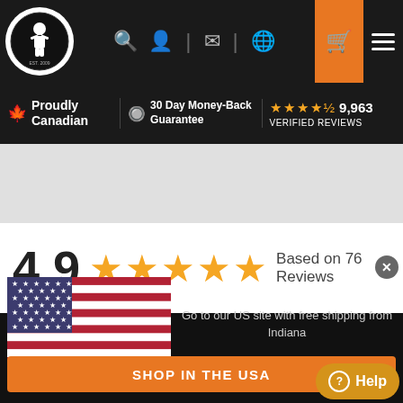[Figure (screenshot): Website navigation bar with logo, search, account, mail, globe icons, shopping cart (orange), and hamburger menu on dark background]
🍁 Proudly Canadian | 30 Day Money-Back Guarantee | ★★★★½ 9,963 VERIFIED REVIEWS
4.9 ★★★★★ Based on 76 Reviews
[Figure (illustration): US flag image]
Visiting from the USA?
Go to our US site with free shipping from Indiana
SHOP IN THE USA